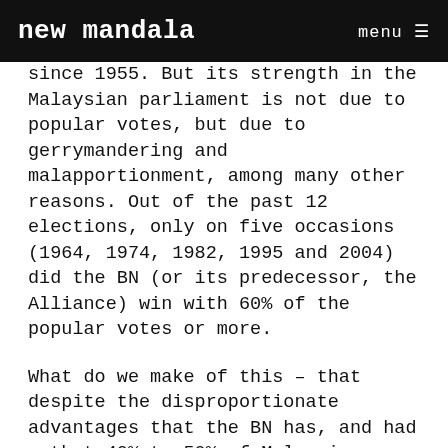new mandala  menu
since 1955. But its strength in the Malaysian parliament is not due to popular votes, but due to gerrymandering and malapportionment, among many other reasons. Out of the past 12 elections, only on five occasions (1964, 1974, 1982, 1995 and 2004) did the BN (or its predecessor, the Alliance) win with 60% of the popular votes or more.
What do we make of this – that despite the disproportionate advantages that the BN has, and had – that 40% to 50% of Malaysians never supported them, even at the best of times?
The BN's best ever performance was during the roaring 90s, under Mahathir Mohamed in 1995